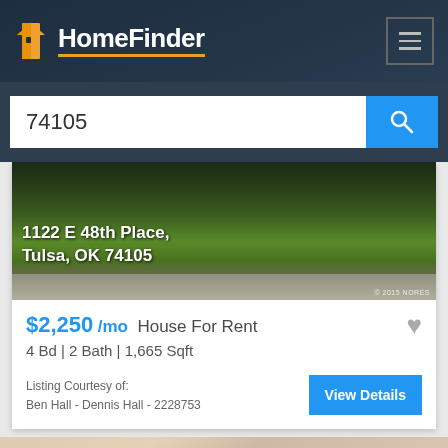HomeFinder
74105
[Figure (photo): Property photo showing grass lawn with sidewalk, address overlay: 1122 E 48th Place, Tulsa, OK 74105. Copyright 2015 NORES.]
$2,250 /mo House For Rent
4 Bd | 2 Bath | 1,665 Sqft
Listing Courtesy of:
Ben Hall - Dennis Hall - 2228753
Turn rent payments into home Ownership!